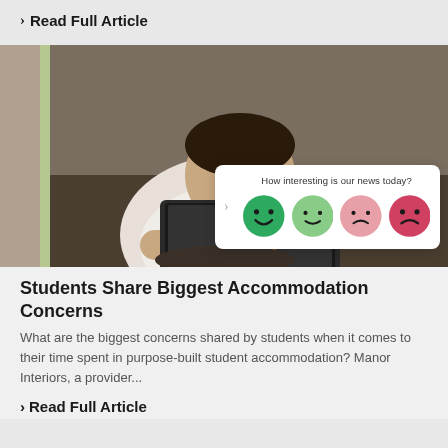> Read Full Article
[Figure (photo): Student looking stressed at laptop with stickers, overlaid with a feedback widget asking 'How interesting is our news today?' with four emoji faces ranging from very happy (dark green) to very unhappy (dark pink/red)]
Students Share Biggest Accommodation Concerns
What are the biggest concerns shared by students when it comes to their time spent in purpose-built student accommodation? Manor Interiors, a provider...
> Read Full Article